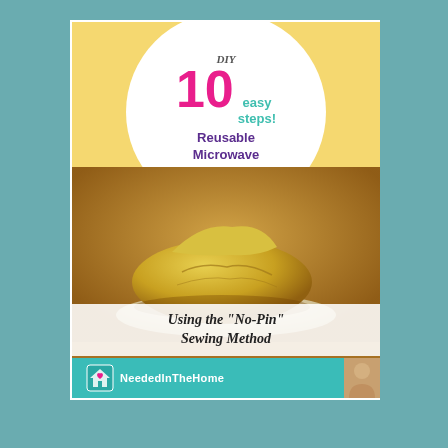[Figure (illustration): DIY craft guide cover card showing a reusable microwave popcorn bag inside a microwave oven. The card has a yellow top section with a white circle overlay containing the title text. Below is a photo of a yellow fabric popcorn bag on a microwave turntable. A white banner reads 'Using the No-Pin Sewing Method'. A teal brand bar at the bottom shows the NeededInTheHome logo and a small portrait photo.]